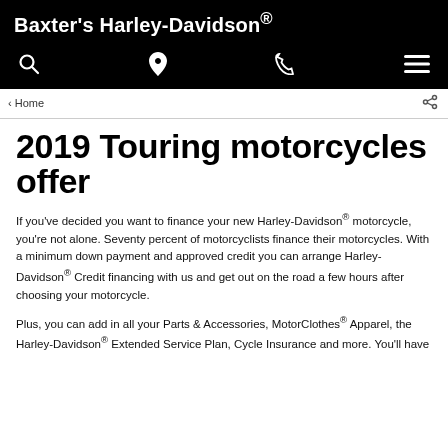Baxter's Harley-Davidson®
2019 Touring motorcycles offer
If you've decided you want to finance your new Harley-Davidson® motorcycle, you're not alone. Seventy percent of motorcyclists finance their motorcycles. With a minimum down payment and approved credit you can arrange Harley-Davidson® Credit financing with us and get out on the road a few hours after choosing your motorcycle.
Plus, you can add in all your Parts & Accessories, MotorClothes® Apparel, the Harley-Davidson® Extended Service Plan, Cycle Insurance and more. You'll have